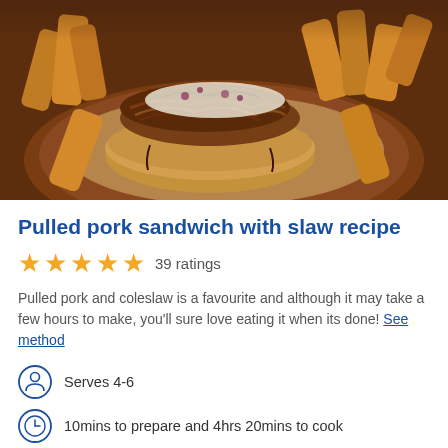[Figure (photo): Pulled pork sandwich open-faced on a bun with coleslaw on top, served on parchment paper on a wooden board surrounded by thick-cut chips/fries]
Pulled pork sandwich with slaw recipe
★★★★★ 39 ratings
Pulled pork and coleslaw is a favourite and although it may take a few hours to make, you'll sure love eating it when its done! See method
Serves 4-6
10mins to prepare and 4hrs 20mins to cook
560 calories / serving
Dairy-free